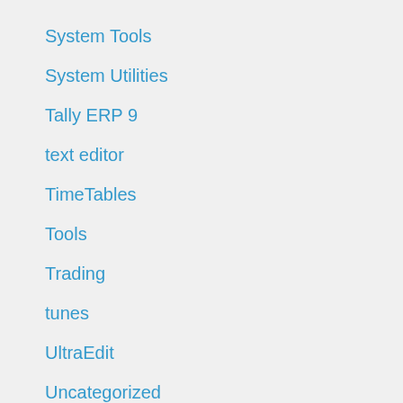System Tools
System Utilities
Tally ERP 9
text editor
TimeTables
Tools
Trading
tunes
UltraEdit
Uncategorized
uninstaller
Unlocker
Utilitie
Utilities
Utility